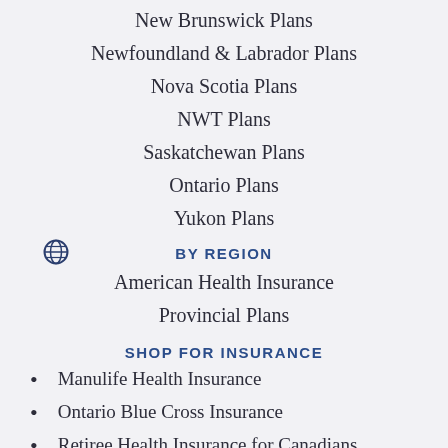New Brunswick Plans
Newfoundland & Labrador Plans
Nova Scotia Plans
NWT Plans
Saskatchewan Plans
Ontario Plans
Yukon Plans
BY REGION
American Health Insurance
Provincial Plans
SHOP FOR INSURANCE
Manulife Health Insurance
Ontario Blue Cross Insurance
Retiree Health Insurance for Canadians